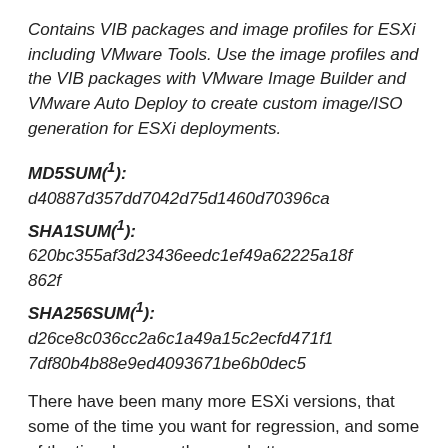Contains VIB packages and image profiles for ESXi including VMware Tools. Use the image profiles and the VIB packages with VMware Image Builder and VMware Auto Deploy to create custom image/ISO generation for ESXi deployments.
MD5SUM(¹): d40887d357dd7042d75d1460d70396ca
SHA1SUM(¹): 620bc355af3d23436eedc1ef49a62225a18f862f
SHA256SUM(¹): d26ce8c036cc2a6c1a49a15c2ecfd471f17df80b4b88e9ed4093671be6b0dec5
There have been many more ESXi versions, that some of the time you want for regression, and some of the time because they are better.
Some of the times (like right now) you do also do NOT